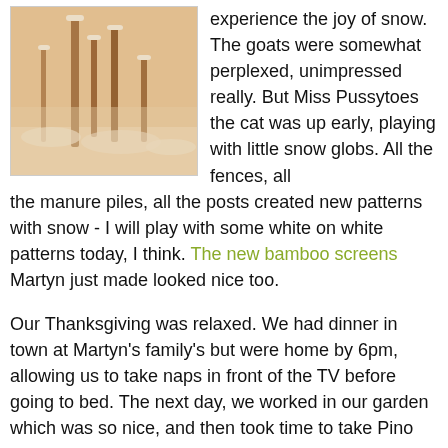[Figure (photo): Sepia-toned photograph of snow-covered plants or fence posts on a farm, with snow piled on branches and ground.]
experience the joy of snow. The goats were somewhat perplexed, unimpressed really. But Miss Pussytoes the cat was up early, playing with little snow globs. All the fences, all the manure piles, all the posts created new patterns with snow - I will play with some white on white patterns today, I think. The new bamboo screens Martyn just made looked nice too.
Our Thanksgiving was relaxed. We had dinner in town at Martyn's family's but were home by 6pm, allowing us to take naps in front of the TV before going to bed. The next day, we worked in our garden which was so nice, and then took time to take Pino and Paco for a long walk. We made a visit to our favorite winemaker to buy some of his Pinot to enjoy with our first meal made of our own lamb meat. We had lamb chops, and they were wonderful. I was so proud. I wonder if other farmers shed a small tear the first time they cook something they raised - not out of sadness, but pride for both the animal and the farmer. I mean, I was just proud!